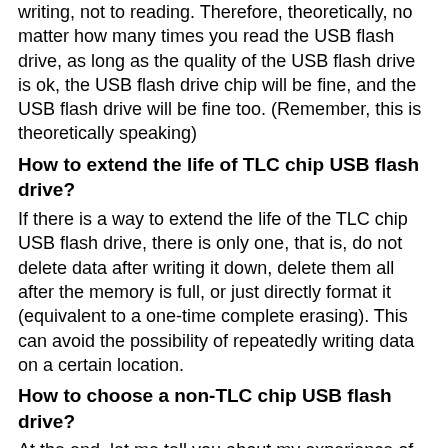writing, not to reading. Therefore, theoretically, no matter how many times you read the USB flash drive, as long as the quality of the USB flash drive is ok, the USB flash drive chip will be fine, and the USB flash drive will be fine too. (Remember, this is theoretically speaking)
How to extend the life of TLC chip USB flash drive?
If there is a way to extend the life of the TLC chip USB flash drive, there is only one, that is, do not delete data after writing it down, delete them all after the memory is full, or just directly format it (equivalent to a one-time complete erasing). This can avoid the possibility of repeatedly writing data on a certain location.
How to choose a non-TLC chip USB flash drive?
At the end, let me tell you about my experience of buying a USB flash drive.
For men and women who like good-looking things, there is only a little experience -- buy the one that you think is pretty